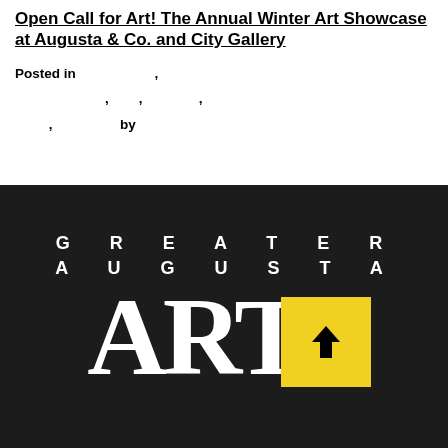Open Call for Art! The Annual Winter Art Showcase at Augusta & Co. and City Gallery
Posted in , , , , , , by
[Figure (logo): Greater Augusta Arts logo - white text on dark/black background showing 'GREATER AUGUSTA' in spaced capitals above large 'ARTS' text with a yellow square containing an upward arrow]